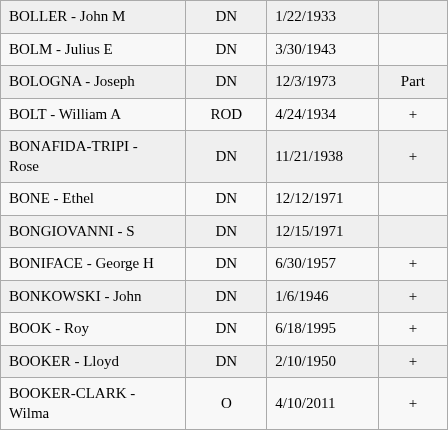| Name | Type | Date |  |
| --- | --- | --- | --- |
| BOLLER - John M | DN | 1/22/1933 |  |
| BOLM - Julius E | DN | 3/30/1943 |  |
| BOLOGNA - Joseph | DN | 12/3/1973 | Part |
| BOLT - William A | ROD | 4/24/1934 | + |
| BONAFIDA-TRIPI - Rose | DN | 11/21/1938 | + |
| BONE - Ethel | DN | 12/12/1971 |  |
| BONGIOVANNI - S | DN | 12/15/1971 |  |
| BONIFACE - George H | DN | 6/30/1957 | + |
| BONKOWSKI - John | DN | 1/6/1946 | + |
| BOOK - Roy | DN | 6/18/1995 | + |
| BOOKER - Lloyd | DN | 2/10/1950 | + |
| BOOKER-CLARK - Wilma | O | 4/10/2011 | + |